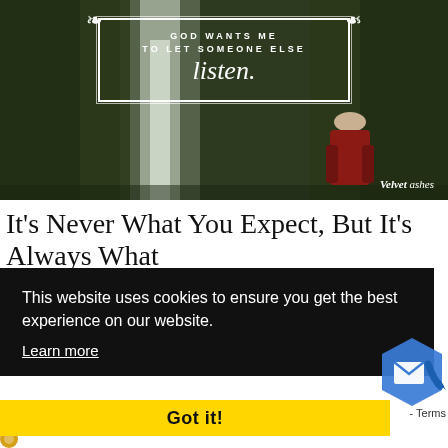[Figure (photo): Dark forest/waterfall background with a person in a red jacket and beige hat standing with their back to the camera. Overlaid with a decorative bordered text box reading 'GOD WANTS ME TO LET SOMEONE ELSE listen.' and a 'Velvet ashes' watermark in the bottom right.]
It’s Never What You Expect, But It’s Always What You Need
This website uses cookies to ensure you get the best experience on our website.
Learn more
Got it!
- Terms